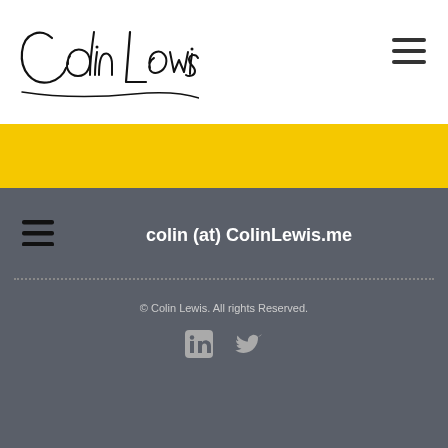[Figure (logo): Colin Lewis cursive signature logo in black on white background]
[Figure (illustration): Hamburger menu icon (three horizontal lines) in top right of header]
[Figure (illustration): Yellow band decorative stripe]
[Figure (illustration): Hamburger menu icon in bottom dark section]
colin (at) ColinLewis.me
© Colin Lewis. All rights Reserved.
[Figure (illustration): LinkedIn and Twitter social media icons]